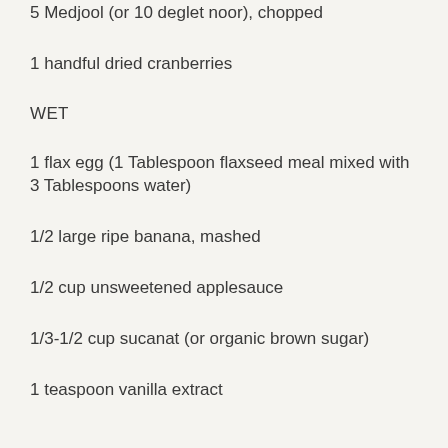5 Medjool (or 10 deglet noor), chopped
1 handful dried cranberries
WET
1 flax egg (1 Tablespoon flaxseed meal mixed with 3 Tablespoons water)
1/2 large ripe banana, mashed
1/2 cup unsweetened applesauce
1/3-1/2 cup sucanat (or organic brown sugar)
1 teaspoon vanilla extract